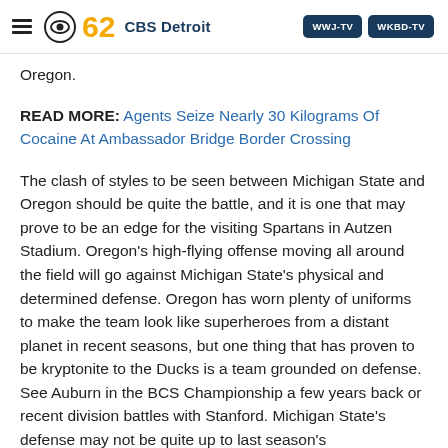CBS 62 CBS Detroit | WWJ-TV | WKBD-TV
Oregon.
READ MORE: Agents Seize Nearly 30 Kilograms Of Cocaine At Ambassador Bridge Border Crossing
The clash of styles to be seen between Michigan State and Oregon should be quite the battle, and it is one that may prove to be an edge for the visiting Spartans in Autzen Stadium. Oregon's high-flying offense moving all around the field will go against Michigan State's physical and determined defense. Oregon has worn plenty of uniforms to make the team look like superheroes from a distant planet in recent seasons, but one thing that has proven to be kryptonite to the Ducks is a team grounded on defense. See Auburn in the BCS Championship a few years back or recent division battles with Stanford. Michigan State's defense may not be quite up to last season's